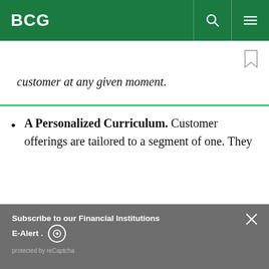BCG
customer at any given moment.
A Personalized Curriculum. Customer offerings are tailored to a segment of one. They
Subscribe to our Financial Institutions E-Alert. protected by reCaptcha
By using this site, you agree with our use of cookies.
I consent to cookies
Want to know more?
Read our Cookie Policy